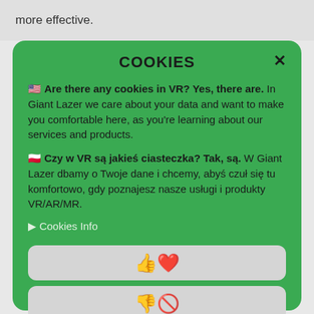more effective.
COOKIES
🇺🇸 Are there any cookies in VR? Yes, there are. In Giant Lazer we care about your data and want to make you comfortable here, as you're learning about our services and products.
🇵🇱 Czy w VR są jakieś ciasteczka? Tak, są. W Giant Lazer dbamy o Twoje dane i chcemy, abyś czuł się tu komfortowo, gdy poznajesz nasze usługi i produkty VR/AR/MR.
▶ Cookies Info
[Figure (other): Button with thumbs up and heart emoji: 👍❤️]
[Figure (other): Button with thumbs down and no-entry emoji: 👎🚫]
[Figure (other): Button with thinking face and question mark emoji: 🤔❓]